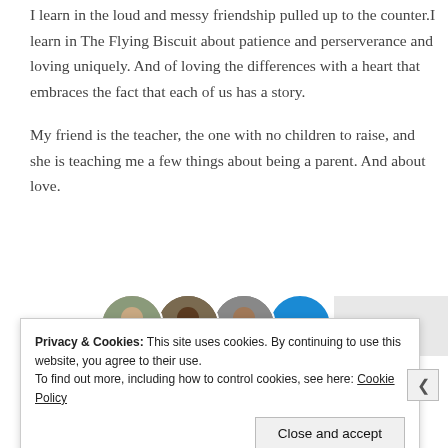I learn in the loud and messy friendship pulled up to the counter.I learn in The Flying Biscuit about patience and perserverance and loving uniquely. And of loving the differences with a heart that embraces the fact that each of us has a story.
My friend is the teacher, the one with no children to raise, and she is teaching me a few things about being a parent. And about love.
[Figure (photo): Row of circular avatar photos of three people plus a blue circle with a plus sign, followed by a gray placeholder rectangle]
Privacy & Cookies: This site uses cookies. By continuing to use this website, you agree to their use.
To find out more, including how to control cookies, see here: Cookie Policy
Close and accept